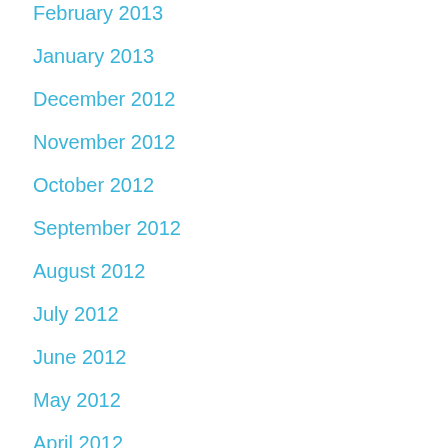February 2013
January 2013
December 2012
November 2012
October 2012
September 2012
August 2012
July 2012
June 2012
May 2012
April 2012
March 2012
February 2012
January 2012